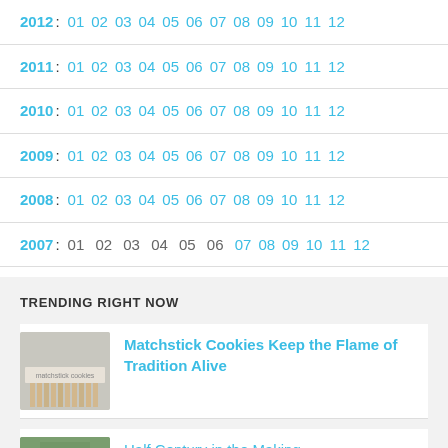2012: 01 02 03 04 05 06 07 08 09 10 11 12
2011: 01 02 03 04 05 06 07 08 09 10 11 12
2010: 01 02 03 04 05 06 07 08 09 10 11 12
2009: 01 02 03 04 05 06 07 08 09 10 11 12
2008: 01 02 03 04 05 06 07 08 09 10 11 12
2007: 01 02 03 04 05 06 07 08 09 10 11 12
TRENDING RIGHT NOW
Matchstick Cookies Keep the Flame of Tradition Alive
[Figure (photo): Matchstick cookies image - close up of matchstick-shaped cookies]
Half Century in the Making...